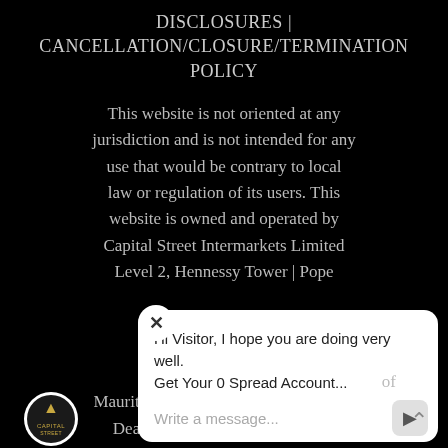DISCLOSURES | CANCELLATION/CLOSURE/TERMINATION POLICY
This website is not oriented at any jurisdiction and is not intended for any use that would be contrary to local law or regulation of its users. This website is owned and operated by Capital Street Intermarkets Limited Level 2, Hennessy Tower | Pope ...blic
[Figure (screenshot): Chat widget overlay with close (X) button, message text 'Hi Visitor, I hope you are doing very well. Get Your 0 Spread Account...' and an input box 'Write a message...' with send arrow button, plus Capital Street logo circle on lower left]
...of Mauritius as a Full Services Securities Dealer and company registration